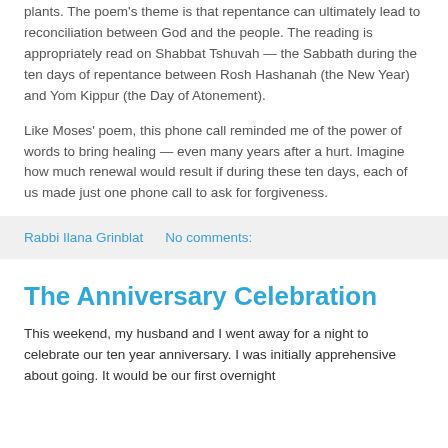plants. The poem's theme is that repentance can ultimately lead to reconciliation between God and the people. The reading is appropriately read on Shabbat Tshuvah — the Sabbath during the ten days of repentance between Rosh Hashanah (the New Year) and Yom Kippur (the Day of Atonement).
Like Moses' poem, this phone call reminded me of the power of words to bring healing — even many years after a hurt. Imagine how much renewal would result if during these ten days, each of us made just one phone call to ask for forgiveness.
Rabbi Ilana Grinblat    No comments:
The Anniversary Celebration
This weekend, my husband and I went away for a night to celebrate our ten year anniversary. I was initially apprehensive about going. It would be our first overnight